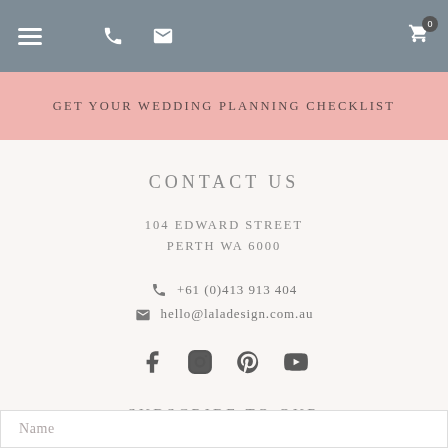Navigation bar with hamburger menu, phone, mail, and cart icons
GET YOUR WEDDING PLANNING CHECKLIST
CONTACT US
104 EDWARD STREET
PERTH WA 6000
+61 (0)413 913 404
hello@laladesign.com.au
[Figure (other): Social media icons: Facebook, Instagram, Pinterest, YouTube]
SUBSCRIBE TO OUR NEWSLETTER
Name